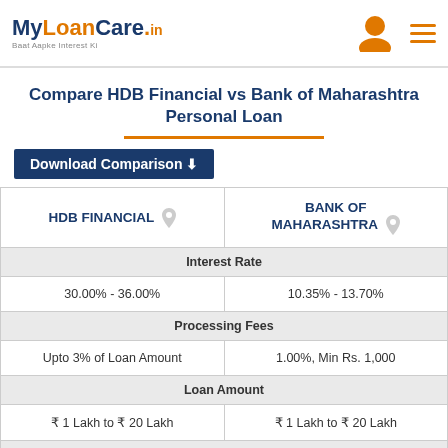MyLoanCare.in Baat Aapke Interest Ki
Compare HDB Financial vs Bank of Maharashtra Personal Loan
Download Comparison
| HDB FINANCIAL | BANK OF MAHARASHTRA |
| --- | --- |
| Interest Rate | Interest Rate |
| 30.00% - 36.00% | 10.35% - 13.70% |
| Processing Fees | Processing Fees |
| Upto 3% of Loan Amount | 1.00%, Min Rs. 1,000 |
| Loan Amount | Loan Amount |
| ₹ 1 Lakh to ₹ 20 Lakh | ₹ 1 Lakh to ₹ 20 Lakh |
| Loan Tenure | Loan Tenure |
| 12 to 60 Months | 6 to 36 Months |